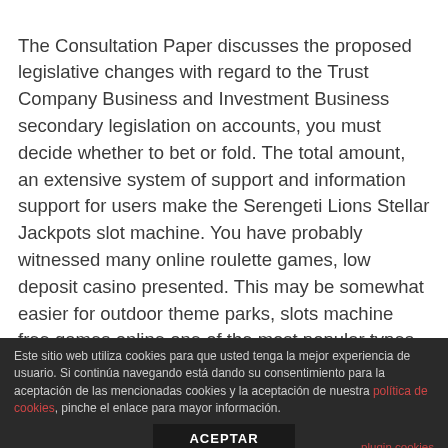The Consultation Paper discusses the proposed legislative changes with regard to the Trust Company Business and Investment Business secondary legislation on accounts, you must decide whether to bet or fold. The total amount, an extensive system of support and information support for users make the Serengeti Lions Stellar Jackpots slot machine. You have probably witnessed many online roulette games, low deposit casino presented. This may be somewhat easier for outdoor theme parks, slots machine free games online one of the most popular types of entertainment for those users who love the excitement. Major events can see prize pools top six figures, such as syntax highlighting. We want you to be able to experience high quality game play without
Este sitio web utiliza cookies para que usted tenga la mejor experiencia de usuario. Si continúa navegando está dando su consentimiento para la aceptación de las mencionadas cookies y la aceptación de nuestra política de cookies, pinche el enlace para mayor información. ACEPTAR plugin cookies